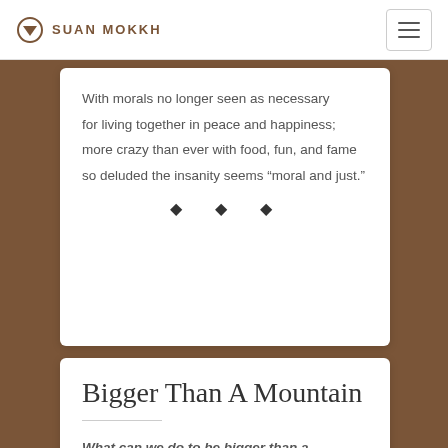SUAN MOKKH
With morals no longer seen as necessary for living together in peace and happiness; more crazy than ever with food, fun, and fame so deluded the insanity seems “moral and just.”
Bigger Than A Mountain
What can we do to be bigger than a mountain? Oh, do it just by killing off craving!